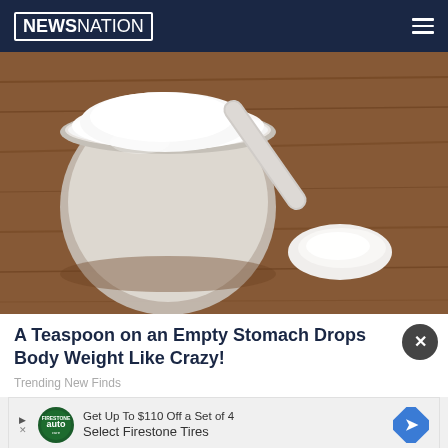[NEWSNATION]
[Figure (photo): A clear plastic measuring scoop filled with white powder (likely protein powder or supplement) sitting on a rustic wooden surface, with a small pile of white powder beside it.]
A Teaspoon on an Empty Stomach Drops Body Weight Like Crazy!
Trending New Finds
[Figure (other): Advertisement banner: Get Up To $110 Off a Set of 4 Select Firestone Tires, with Firestone auto logo and blue diamond arrow icon]
[Figure (photo): Partial view of a person's face (bottom of page strip)]